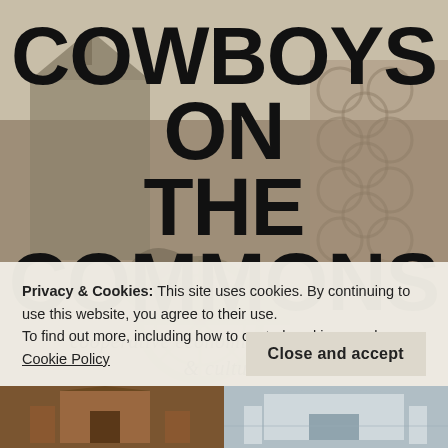[Figure (photo): Grayscale vintage background photograph of a farm scene with a horse-drawn wagon and buildings, tinted brownish-gray]
COWBOYS ON THE COMMONS
cooperative economics, law, politics & culture
Privacy & Cookies: This site uses cookies. By continuing to use this website, you agree to their use.
To find out more, including how to control cookies, see here: Cookie Policy
Close and accept
[Figure (photo): Two thumbnail images at the bottom of the page — a sepia-toned building on the left and a lighter architectural image on the right]